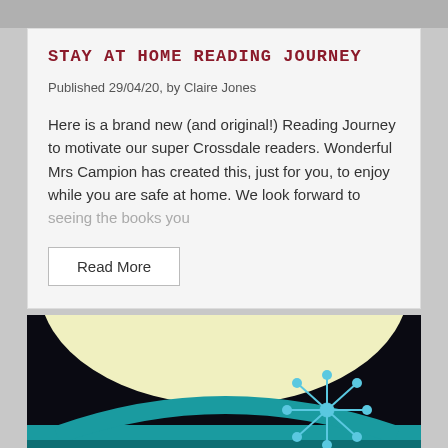STAY AT HOME READING JOURNEY
Published 29/04/20, by Claire Jones
Here is a brand new (and original!) Reading Journey to motivate our super Crossdale readers. Wonderful Mrs Campion has created this, just for you, to enjoy while you are safe at home. We look forward to seeing the books you
Read More
[Figure (illustration): A retro-style illustrated scene with a dark sky/space background at the top, a large pale yellow circular shape (moon or planet), teal/turquoise ground or vehicle elements, a yellow star shape on the left, and a blue atomic/starburst decorative element with circular nodes on the right.]